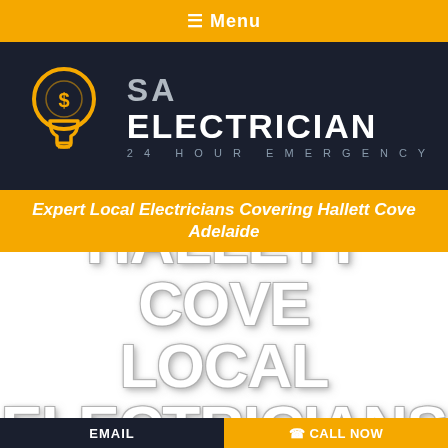☰ Menu
[Figure (logo): SA Electrician 24 Hour Emergency logo with yellow lightbulb icon on dark navy background]
Expert Local Electricians Covering Hallett Cove Adelaide
HALLETT COVE LOCAL ELECTRICIANS
EMAIL   ☎ CALL NOW